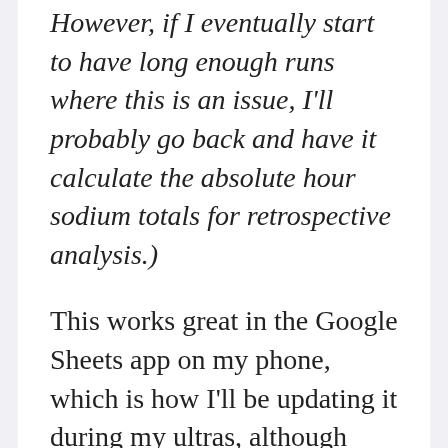However, if I eventually start to have long enough runs where this is an issue, I'll probably go back and have it calculate the absolute hour sodium totals for retrospective analysis.)
This works great in the Google Sheets app on my phone, which is how I'll be updating it during my ultras, although Scott can have it open on a browser tab when he's at home working at his laptop. Every time I go for a long training run, I duplicate the template tab and label it with the date of the run and use it for logging my fueling